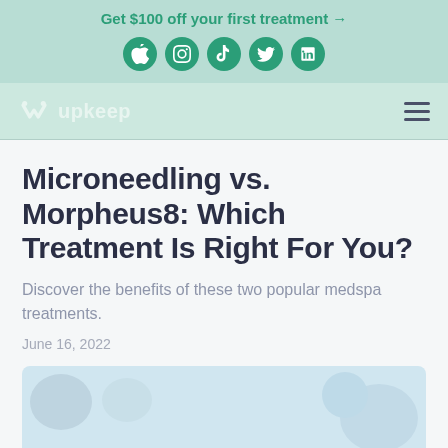Get $100 off your first treatment →
[Figure (other): Social media icons: Apple, Instagram, TikTok, Twitter, LinkedIn]
upkeep (logo/navigation bar with hamburger menu)
Microneedling vs. Morpheus8: Which Treatment Is Right For You?
Discover the benefits of these two popular medspa treatments.
June 16, 2022
[Figure (illustration): Partial illustration showing medical/medspa treatment imagery with blue/purple blob shapes at the bottom of the page]